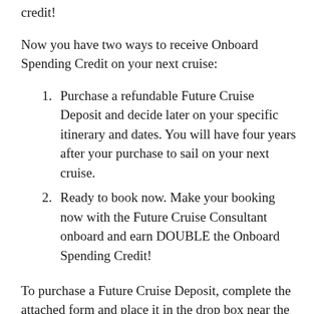credit!
Now you have two ways to receive Onboard Spending Credit on your next cruise:
Purchase a refundable Future Cruise Deposit and decide later on your specific itinerary and dates. You will have four years after your purchase to sail on your next cruise.
Ready to book now. Make your booking now with the Future Cruise Consultant onboard and earn DOUBLE the Onboard Spending Credit!
To purchase a Future Cruise Deposit, complete the attached form and place it in the drop box near the